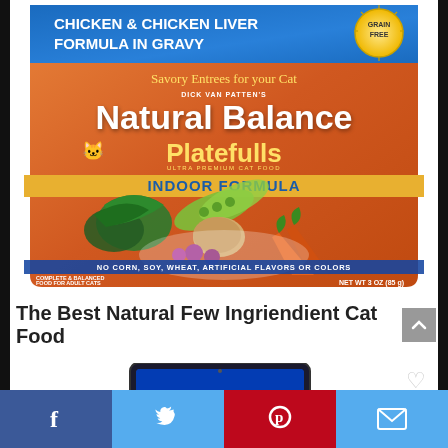[Figure (photo): Natural Balance Platefulls cat food pouch - Chicken & Chicken Liver Formula in Gravy, Indoor Formula, Grain Free, No Corn Soy Wheat Artificial Flavors or Colors, Net Wt 3 OZ (85 g)]
The Best Natural Few Ingriendient Cat Food
[Figure (photo): Partial view of a tablet device showing a blue screen]
Facebook | Twitter | Pinterest | Email social sharing bar